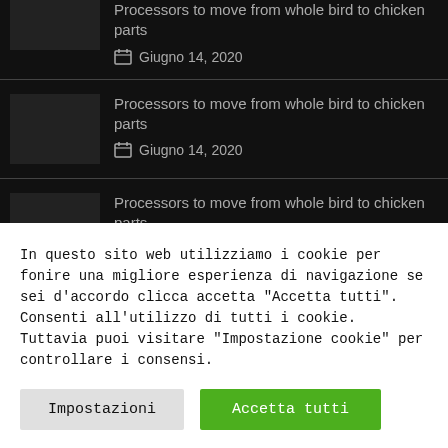Processors to move from whole bird to chicken parts — Giugno 14, 2020
Processors to move from whole bird to chicken parts — Giugno 14, 2020
Processors to move from whole bird to chicken parts — Giugno 14, 2020
In questo sito web utilizziamo i cookie per fonire una migliore esperienza di navigazione se sei d'accordo clicca accetta "Accetta tutti". Consenti all'utilizzo di tutti i cookie. Tuttavia puoi visitare "Impostazione cookie" per controllare i consensi.
Impostazioni | Accetta tutti